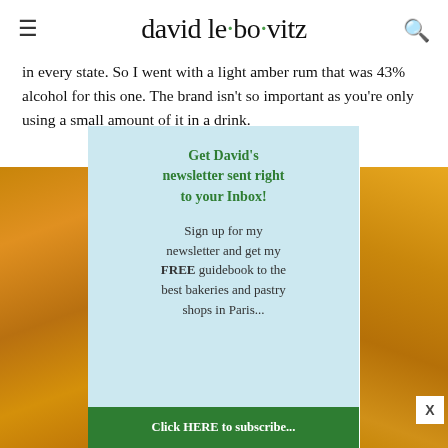david lebovitz
in every state. So I went with a light amber rum that was 43% alcohol for this one. The brand isn't so important as you're only using a small amount of it in a drink.
[Figure (other): Newsletter signup popup overlay with light blue background. Heading: Get David's newsletter sent right to your Inbox! Body: Sign up for my newsletter and get my FREE guidebook to the best bakeries and pastry shops in Paris... with a green button at bottom partially visible. Behind the popup are two partial food/drink photos on left and right sides.]